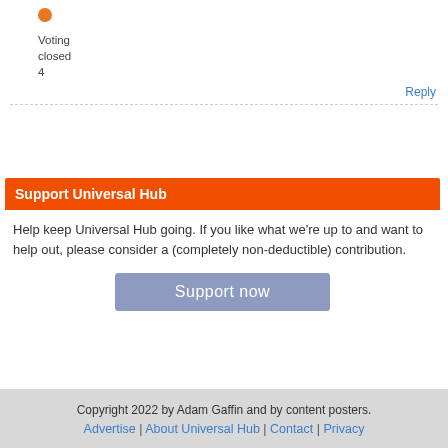[Figure (other): Orange circle icon (voting indicator)]
Voting
closed
4
Reply
Support Universal Hub
Help keep Universal Hub going. If you like what we're up to and want to help out, please consider a (completely non-deductible) contribution.
[Figure (other): Support now button (blue-grey rounded rectangle)]
Copyright 2022 by Adam Gaffin and by content posters.
Advertise | About Universal Hub | Contact | Privacy